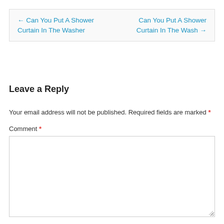← Can You Put A Shower Curtain In The Washer
Can You Put A Shower Curtain In The Wash →
Leave a Reply
Your email address will not be published. Required fields are marked *
Comment *